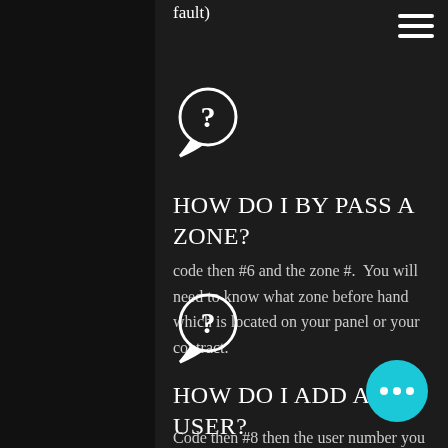fault)
[Figure (illustration): White speech bubble icon with question mark inside]
HOW DO I BY PASS A ZONE?
code then #6 and the zone #.  You will need to know what zone before hand which is located on your panel or your contract.
[Figure (illustration): White speech bubble icon with question mark inside]
HOW DO I ADD A USER?
Code then #8 then the user number you